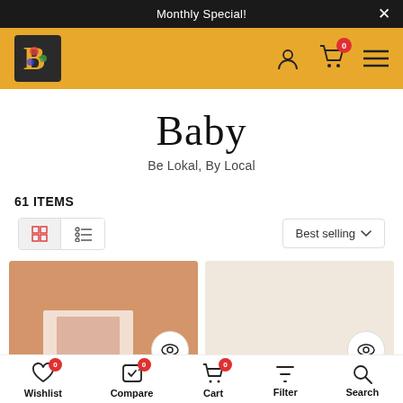Monthly Special!
[Figure (logo): Colorful B logo on orange header with user, cart (0 items), and menu icons]
Baby
Be Lokal, By Local
61 ITEMS
[Figure (screenshot): Grid/list view toggle buttons and Best selling sort dropdown]
[Figure (photo): Two product cards partially visible: left card has salmon/terracotta background, right card has cream background, each with a circular eye/quickview button]
Wishlist 0  Compare 0  Cart 0  Filter  Search